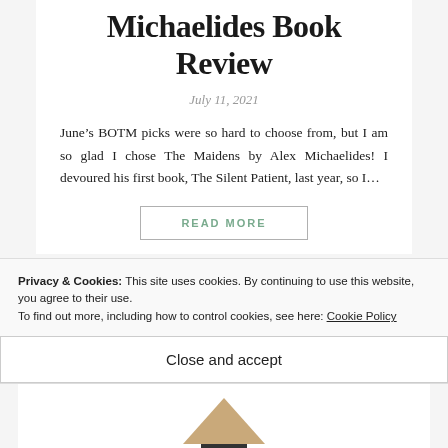Michaelides Book Review
July 11, 2021
June’s BOTM picks were so hard to choose from, but I am so glad I chose The Maidens by Alex Michaelides! I devoured his first book, The Silent Patient, last year, so I…
READ MORE
Privacy & Cookies: This site uses cookies. By continuing to use this website, you agree to their use.
To find out more, including how to control cookies, see here: Cookie Policy
Close and accept